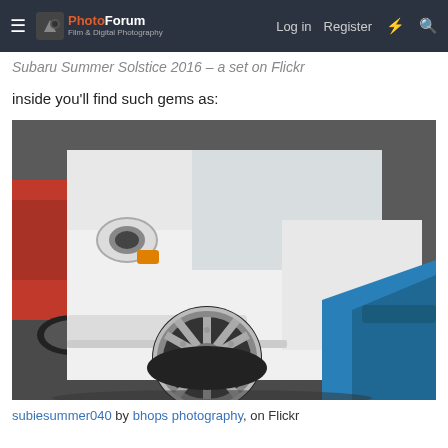The PhotoForum — Log in | Register
Subaru Summer Solstice 2016 – a set on Flickr
inside you'll find such gems as:
[Figure (photo): Close-up photograph of a lowered white Subaru Impreza with custom multi-spoke wheels, flanked by a red car on the left and a blue car hood on the lower right, in a parking lot setting.]
subiesummer040 by bhops photography, on Flickr